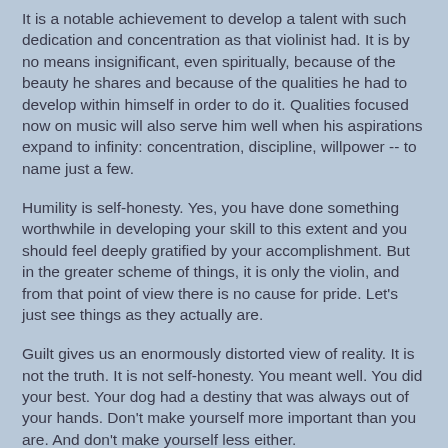It is a notable achievement to develop a talent with such dedication and concentration as that violinist had. It is by no means insignificant, even spiritually, because of the beauty he shares and because of the qualities he had to develop within himself in order to do it. Qualities focused now on music will also serve him well when his aspirations expand to infinity: concentration, discipline, willpower -- to name just a few.
Humility is self-honesty. Yes, you have done something worthwhile in developing your skill to this extent and you should feel deeply gratified by your accomplishment. But in the greater scheme of things, it is only the violin, and from that point of view there is no cause for pride. Let's just see things as they actually are.
Guilt gives us an enormously distorted view of reality. It is not the truth. It is not self-honesty. You meant well. You did your best. Your dog had a destiny that was always out of your hands. Don't make yourself more important than you are. And don't make yourself less either.